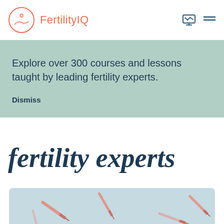FertilityIQ
Explore over 300 courses and lessons taught by leading fertility experts.
Dismiss
fertility experts
[Figure (photo): Close-up photo of multiple syringes/needles on a light blue background, soft focus, pink/salmon colored needles arranged in various angles]